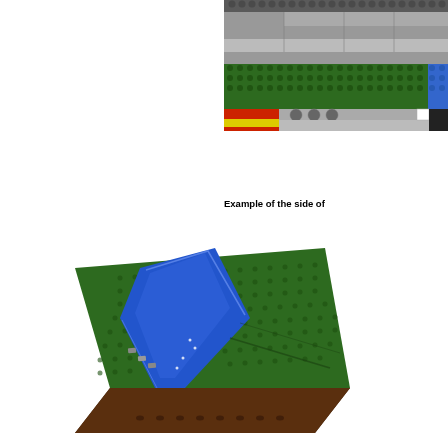[Figure (photo): Side view of a LEGO construction showing layered grey, green, red, yellow, and blue LEGO bricks arranged in a flat horizontal structure resembling a landscape model cross-section.]
Example of the side of
[Figure (photo): Angled top-down view of a green LEGO baseplate with a blue river/water section running diagonally through it, with small grey LEGO pieces along the edge, on a dark brown border plate.]